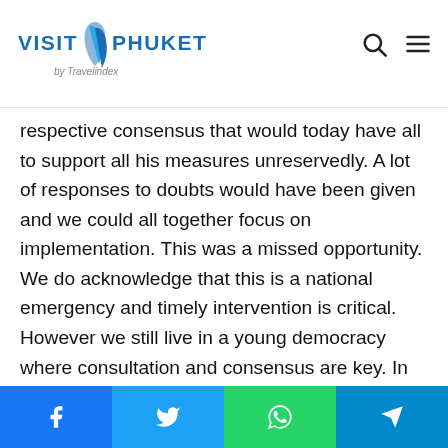Visit Phuket by Travelindex
respective consensus that would today have all to support all his measures unreservedly. A lot of responses to doubts would have been given and we could all together focus on implementation. This was a missed opportunity. We do acknowledge that this is a national emergency and timely intervention is critical. However we still live in a young democracy where consultation and consensus are key. In fact, as a small country with relatively small population this task does not warrant much effort or time. Government's presence in the National Assembly to respond to queries and concerns of the representatives of the people. This has gone a long way to ensure that wide support for the measures are assured. Nevertheless the President decision to go it all alone instead
Facebook Twitter WhatsApp Telegram